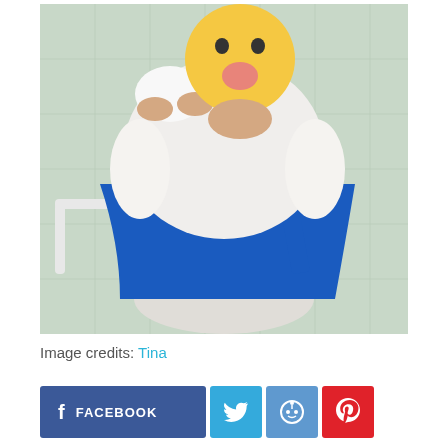[Figure (photo): A person in a white lace wedding dress sitting on a toilet in a tiled bathroom, holding a blue IKEA bag (Frakta) around their waist. Their face is obscured by a yellow emoji sticker with a tongue sticking out. Another person's hand holds a white tissue nearby.]
Image credits: Tina